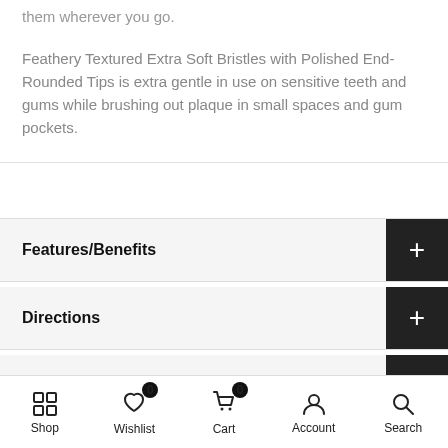them wherever you go.
Feathery Textured Extra Soft Bristles with Polished End-Rounded Tips is extra gentle in use on sensitive teeth and gums while brushing out plaque in small spaces and gum pockets.
Features/Benefits
Directions
Reviews
Shop | Wishlist 0 | Cart 0 | Account | Search